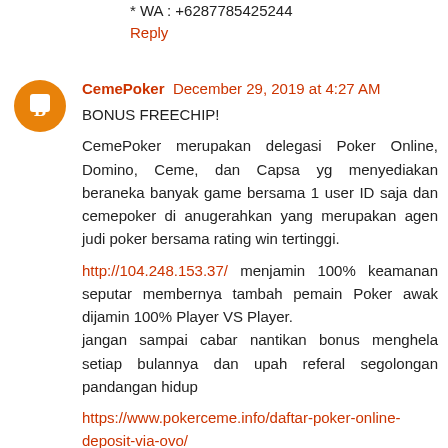* WA : +6287785425244
Reply
CemePoker  December 29, 2019 at 4:27 AM
BONUS FREECHIP!
CemePoker merupakan delegasi Poker Online, Domino, Ceme, dan Capsa yg menyediakan beraneka banyak game bersama 1 user ID saja dan cemepoker di anugerahkan yang merupakan agen judi poker bersama rating win tertinggi.
http://104.248.153.37/ menjamin 100% keamanan seputar membernya tambah pemain Poker awak dijamin 100% Player VS Player.
jangan sampai cabar nantikan bonus menghela setiap bulannya dan upah referal segolongan pandangan hidup
https://www.pokerceme.info/daftar-poker-online-deposit-via-ovo/
Ayo sekarang di cemepoker ---> http://104.248.153.37/